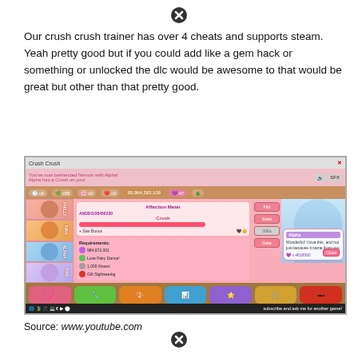[Figure (other): Close/cancel icon (X in circle) at top center]
Our crush crush trainer has over 4 cheats and supports steam. Yeah pretty good but if you could add like a gem hack or something or unlocked the dlc would be awesome to that would be great but other than that pretty good.
[Figure (screenshot): Screenshot of Crush Crush game showing character selection panel, affection meter, requirements, action buttons (Flirt, Stats, Gifts, Date), and Alpha character dialogue saying 'Wonderful! I love this, and not just because it came from you.' with bottom navigation bar showing Girls, Jobs, Hobbies, Stats, Achievements, Store, More. Bottom taskbar shows 'subscribe and ask me for another game!']
Source: www.youtube.com
[Figure (other): Close/cancel icon (X in circle) at bottom center]